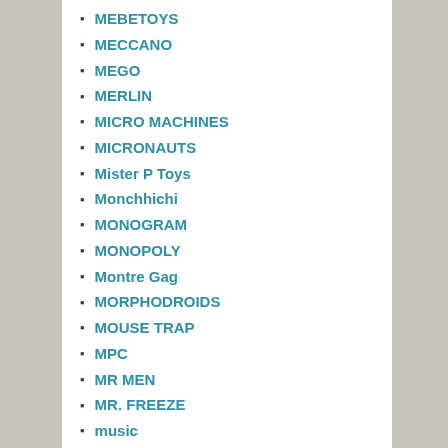MEBETOYS
MECCANO
MEGO
MERLIN
MICRO MACHINES
MICRONAUTS
Mister P Toys
Monchhichi
MONOGRAM
MONOPOLY
Montre Gag
MORPHODROIDS
MOUSE TRAP
MPC
MR MEN
MR. FREEZE
music
MY LITTLE PONY
NERF
Never Mind The Adverts...
NIKKO R/C